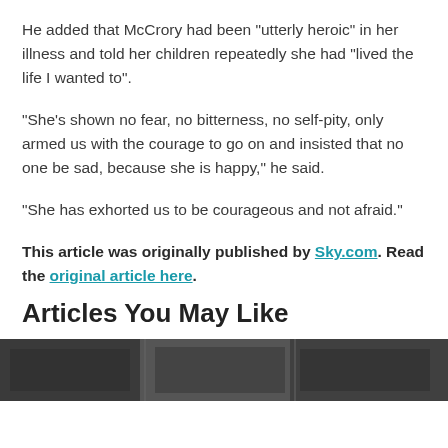He added that McCrory had been “utterly heroic” in her illness and told her children repeatedly she had “lived the life I wanted to”.
“She’s shown no fear, no bitterness, no self-pity, only armed us with the courage to go on and insisted that no one be sad, because she is happy,” he said.
“She has exhorted us to be courageous and not afraid.”
This article was originally published by Sky.com. Read the original article here.
Articles You May Like
[Figure (photo): A dark photo strip at the bottom of the page, partially visible, appearing to show an indoor or architectural scene.]